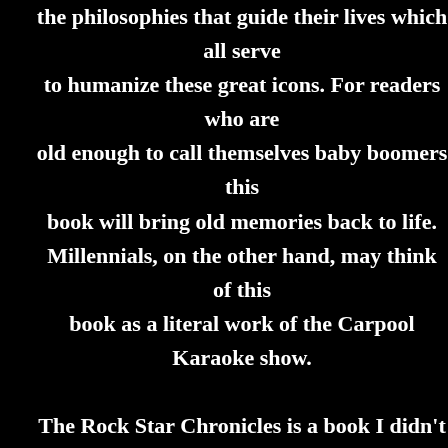the philosophies that guide their lives which all serve to humanize these great icons. For readers who are old enough to call themselves baby boomers this book will bring old memories back to life. Millennials, on the other hand, may think of this book as a literal work of the Carpool Karaoke show. The Rock Star Chronicles is a book I didn't know I was waiting for. To come across a book that will talk me into trying something new. One brave enough to incite me to venture into new frontiers. This book made me a believer- I am now a bona fide Rock and